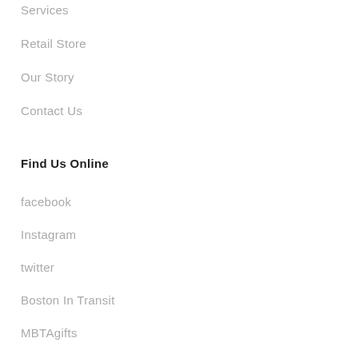Services
Retail Store
Our Story
Contact Us
Find Us Online
facebook
Instagram
twitter
Boston In Transit
MBTAgifts
Join Our Email List